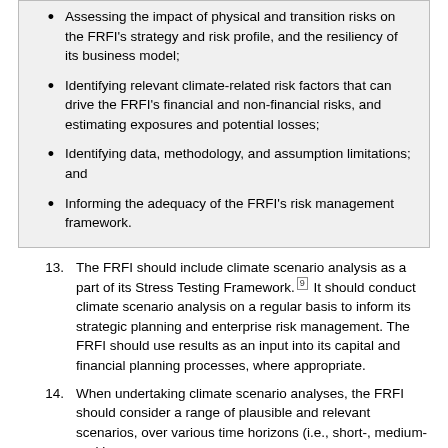Assessing the impact of physical and transition risks on the FRFI's strategy and risk profile, and the resiliency of its business model;
Identifying relevant climate-related risk factors that can drive the FRFI's financial and non-financial risks, and estimating exposures and potential losses;
Identifying data, methodology, and assumption limitations; and
Informing the adequacy of the FRFI's risk management framework.
13. The FRFI should include climate scenario analysis as a part of its Stress Testing Framework.[9] It should conduct climate scenario analysis on a regular basis to inform its strategic planning and enterprise risk management. The FRFI should use results as an input into its capital and financial planning processes, where appropriate.
14. When undertaking climate scenario analyses, the FRFI should consider a range of plausible and relevant scenarios, over various time horizons (i.e., short-, medium- and long-